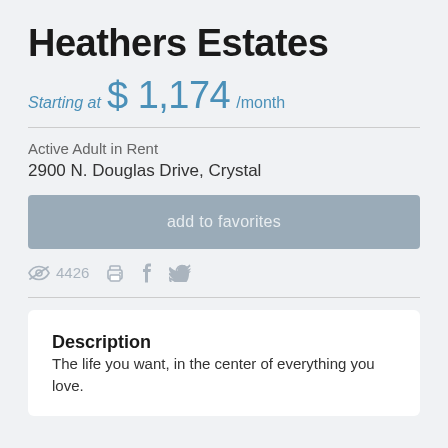Heathers Estates
Starting at $ 1,174 /month
Active Adult in Rent
2900 N. Douglas Drive, Crystal
add to favorites
4426
Description
The life you want, in the center of everything you love.